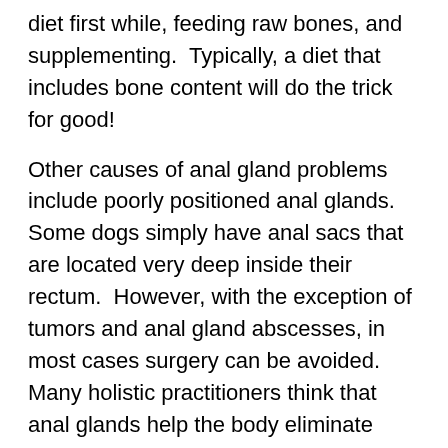diet first while, feeding raw bones, and supplementing.  Typically, a diet that includes bone content will do the trick for good!
Other causes of anal gland problems include poorly positioned anal glands.  Some dogs simply have anal sacs that are located very deep inside their rectum.  However, with the exception of tumors and anal gland abscesses, in most cases surgery can be avoided.  Many holistic practitioners think that anal glands help the body eliminate toxins.  Without the anal glands, detox could be hindered.  So try the above recommendations first.
Injuries to the lumbar spine can also cause anal gland issues.  When there is an injury, the nerve flow decreases, making the anal